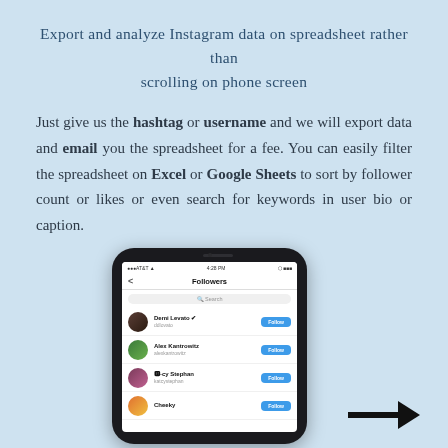Export and analyze Instagram data on spreadsheet rather than scrolling on phone screen
Just give us the hashtag or username and we will export data and email you the spreadsheet for a fee. You can easily filter the spreadsheet on Excel or Google Sheets to sort by follower count or likes or even search for keywords in user bio or caption.
[Figure (screenshot): A smartphone showing Instagram Followers screen with Demi Lovato, Alex Kantrowitz, and -cy Stephan listed with Follow buttons, plus a Cheeky entry at the bottom. An arrow pointing right appears beside the phone.]